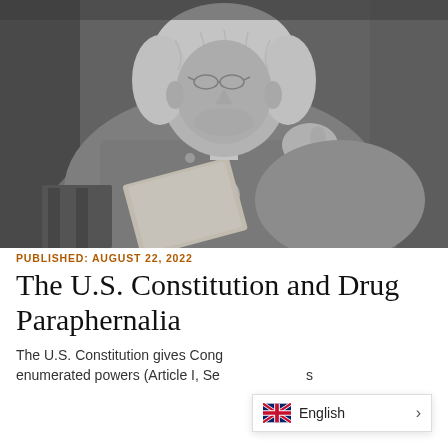[Figure (photo): Black and white engraving/portrait of a founding-era American statesman, wearing a powdered wig and glasses, sitting and reading a document or book, with other books visible beside him.]
PUBLISHED: AUGUST 22, 2022
The U.S. Constitution and Drug Paraphernalia
The U.S. Constitution gives Cong enumerated powers (Article I, Se s